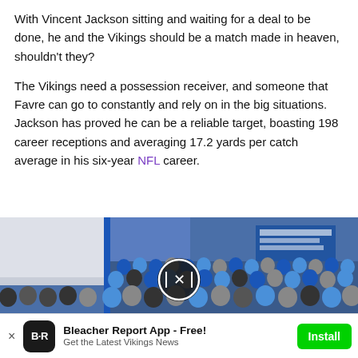With Vincent Jackson sitting and waiting for a deal to be done, he and the Vikings should be a match made in heaven, shouldn't they?
The Vikings need a possession receiver, and someone that Favre can go to constantly and rely on in the big situations. Jackson has proved he can be a reliable target, boasting 198 career receptions and averaging 17.2 yards per catch average in his six-year NFL career.
[Figure (photo): A large indoor crowd of people seated in an auditorium or meeting room, many wearing blue clothing. Blue and white team branding is visible on the walls. A video play button overlay appears in the center of the image.]
Bleacher Report App - Free! Get the Latest Vikings News